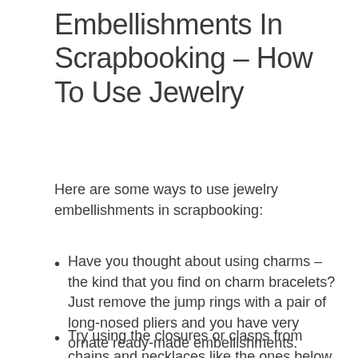Embellishments In Scrapbooking – How To Use Jewelry
Here are some ways to use jewelry embellishments in scrapbooking:
Have you thought about using charms – the kind that you find on charm bracelets?  Just remove the jump rings with a pair of long-nosed pliers and you have very ornate ready-made embellishments.
Try using the closures or clasps from chains and necklaces like the ones below which can be purchased